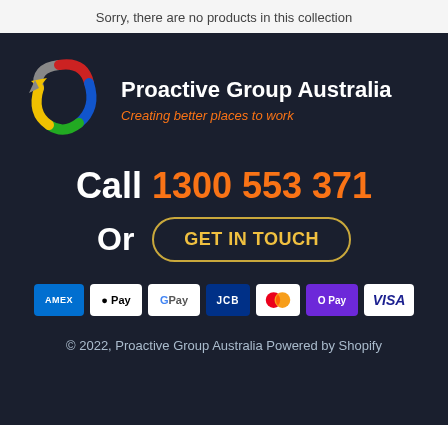Sorry, there are no products in this collection
[Figure (logo): Proactive Group Australia logo with circular arrows in red, yellow, green, blue colors with grey and black accents]
Proactive Group Australia
Creating better places to work
Call 1300 553 371
Or GET IN TOUCH
[Figure (other): Payment method badges: AMEX, Apple Pay, Google Pay, JCB, Mastercard, OPay, VISA]
© 2022, Proactive Group Australia Powered by Shopify